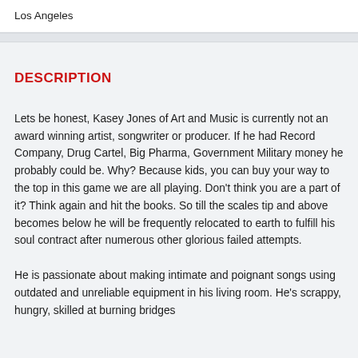Los Angeles
DESCRIPTION
Lets be honest, Kasey Jones of Art and Music is currently not an award winning artist, songwriter or producer. If he had Record Company, Drug Cartel, Big Pharma, Government Military money he probably could be. Why? Because kids, you can buy your way to the top in this game we are all playing. Don't think you are a part of it? Think again and hit the books. So till the scales tip and above becomes below he will be frequently relocated to earth to fulfill his soul contract after numerous other glorious failed attempts.
He is passionate about making intimate and poignant songs using outdated and unreliable equipment in his living room. He's scrappy, hungry, skilled at burning bridges